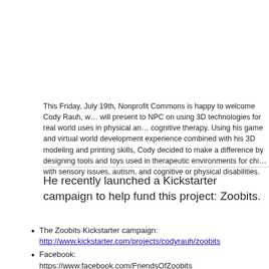This Friday, July 19th, Nonprofit Commons is happy to welcome Cody Rauh, who will present to NPC on using 3D technologies for real world uses in physical and cognitive therapy. Using his game and virtual world development experience combined with his 3D modeling and printing skills, Cody decided to make a difference by designing tools and toys used in therapeutic environments for children with sensory issues, autism, and cognitive or physical disabilities.
He recently launched a Kickstarter campaign to help fund this project: Zoobits.
The Zoobits Kickstarter campaign: http://www.kickstarter.com/projects/codyrauh/zoobits
Facebook: https://www.facebook.com/FriendsOfZoobits